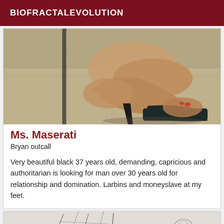BIOFRACTALEVOLUTION
[Figure (photo): Close-up photo of a person's foot wearing a very high platform stiletto heel shoe, black platform, standing on a tiled floor]
Ms. Maserati
Bryan outcall
Very beautiful black 37 years old, demanding, capricious and authoritarian is looking for man over 30 years old for relationship and domination. Larbins and moneyslave at my feet.
[Figure (photo): Partial view of another listing image, appears to show illustrated or sketched figures]